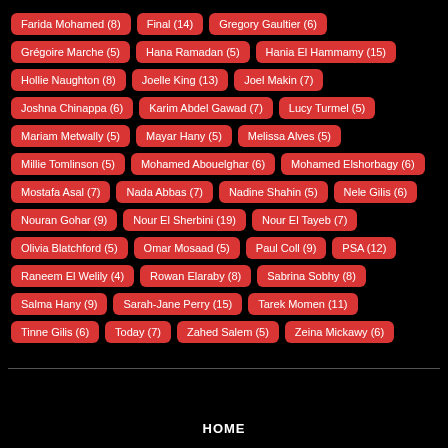Farida Mohamed (8)
Final (14)
Gregory Gaultier (6)
Grégoire Marche (5)
Hana Ramadan (5)
Hania El Hammamy (15)
Hollie Naughton (8)
Joelle King (13)
Joel Makin (7)
Joshna Chinappa (6)
Karim Abdel Gawad (7)
Lucy Turmel (5)
Mariam Metwally (5)
Mayar Hany (5)
Melissa Alves (5)
Millie Tomlinson (5)
Mohamed Abouelghar (6)
Mohamed Elshorbagy (6)
Mostafa Asal (7)
Nada Abbas (7)
Nadine Shahin (5)
Nele Gilis (6)
Nouran Gohar (9)
Nour El Sherbini (19)
Nour El Tayeb (7)
Olivia Blatchford (5)
Omar Mosaad (5)
Paul Coll (9)
PSA (12)
Raneem El Welily (4)
Rowan Elaraby (8)
Sabrina Sobhy (8)
Salma Hany (9)
Sarah-Jane Perry (15)
Tarek Momen (11)
Tinne Gilis (6)
Today (7)
Zahed Salem (5)
Zeina Mickawy (6)
HOME